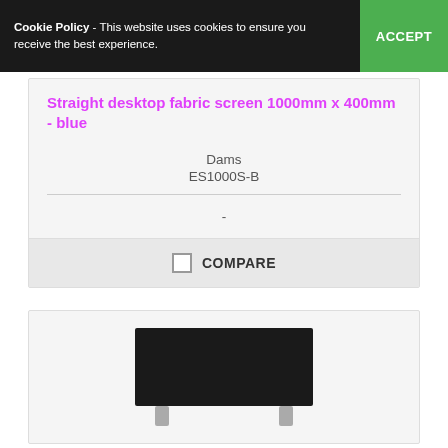Cookie Policy - This website uses cookies to ensure you receive the best experience. ACCEPT
Straight desktop fabric screen 1000mm x 400mm - blue
Dams
ES1000S-B
-
COMPARE
[Figure (photo): Product photo of a straight desktop fabric screen, black rectangular panel on two small silver/grey feet]